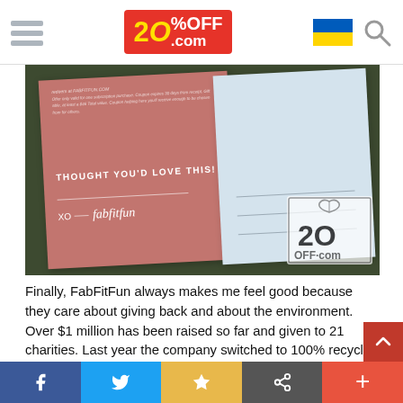20%OFF.com website header with hamburger menu, logo, Ukrainian flag, and search icon
[Figure (photo): Photo of a FabFitFun postcard/mailer showing a pink-red card with text 'THOUGHT YOU'D LOVE THIS!' and 'XO fabfitfun' signature on the left, and a light blue address section on the right, placed on green foliage background. 20OFF.com watermark in bottom right.]
Finally, FabFitFun always makes me feel good because they care about giving back and about the environment. Over $1 million has been raised so far and given to 21 charities. Last year the company switched to 100% recycled boxes and this year they are starting to work with One Tree Planted, which plants one tree for each $1 donated. FabFitFun has my full support for these initiatives and I feel proud to be their customer. Keep
Facebook | Twitter | Bookmark | Share | More